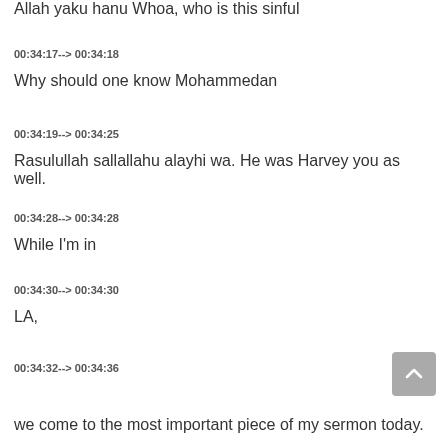Allah yaku hanu Whoa, who is this sinful
00:34:17--> 00:34:18
Why should one know Mohammedan
00:34:19--> 00:34:25
Rasulullah sallallahu alayhi wa. He was Harvey you as well.
00:34:28--> 00:34:28
While I'm in
00:34:30--> 00:34:30
LA,
00:34:32--> 00:34:36
we come to the most important piece of my sermon today.